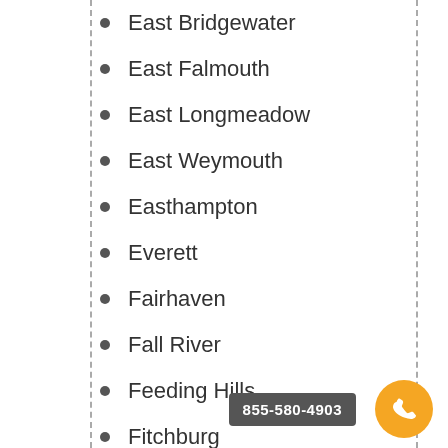East Bridgewater
East Falmouth
East Longmeadow
East Weymouth
Easthampton
Everett
Fairhaven
Fall River
Feeding Hills
Fitchburg